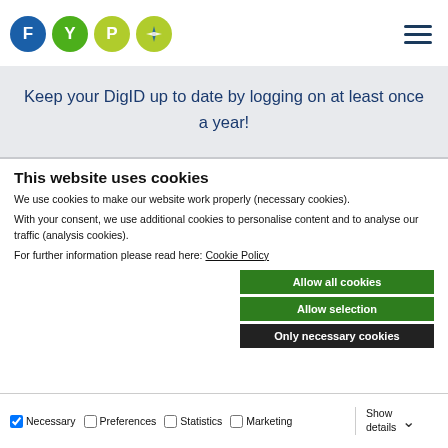[Figure (logo): FYP compass logo with colored circles for F, Y, P letters and a compass icon]
Keep your DigID up to date by logging on at least once a year!
This website uses cookies
We use cookies to make our website work properly (necessary cookies).
With your consent, we use additional cookies to personalise content and to analyse our traffic (analysis cookies).
For further information please read here: Cookie Policy
Allow all cookies
Allow selection
Only necessary cookies
Necessary  Preferences  Statistics  Marketing  Show details